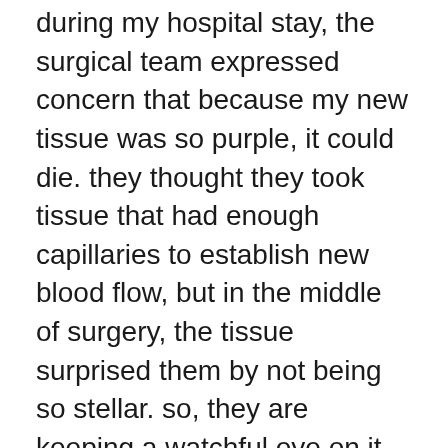during my hospital stay, the surgical team expressed concern that because my new tissue was so purple, it could die. they thought they took tissue that had enough capillaries to establish new blood flow, but in the middle of surgery, the tissue surprised them by not being so stellar. so, they are keeping a watchful eye on it for now. i'd just hate to start this all over again, being already 4 surgeries deep. they will fill the expander very slowly over time to see how my skin stretches. i may have a normal size breast by june or july and right now am completely flat on my right side. pending no other complications, my swap surgery to a silicone implant would happen in october or november. i came out of surgery with 2 surgical drains–one in my chest and one in my back–and then a pain catheter that gives a slow dose of local anesthetic to the surgical sites on my chest and breast. beyond caring for those things, i